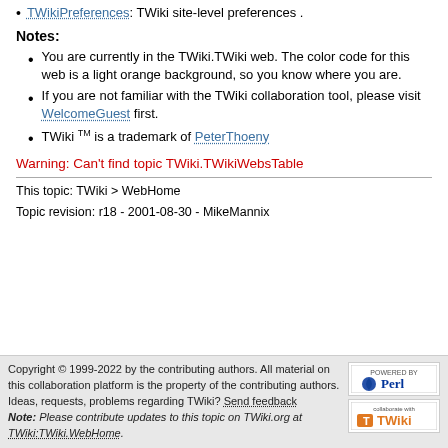TWikiPreferences: TWiki site-level preferences.
Notes:
You are currently in the TWiki.TWiki web. The color code for this web is a light orange background, so you know where you are.
If you are not familiar with the TWiki collaboration tool, please visit WelcomeGuest first.
TWiki TM is a trademark of PeterThoeny
Warning: Can't find topic TWiki.TWikiWebsTable
This topic: TWiki > WebHome
Topic revision: r18 - 2001-08-30 - MikeMannix
Copyright © 1999-2022 by the contributing authors. All material on this collaboration platform is the property of the contributing authors. Ideas, requests, problems regarding TWiki? Send feedback Note: Please contribute updates to this topic on TWiki.org at TWiki:TWiki.WebHome.